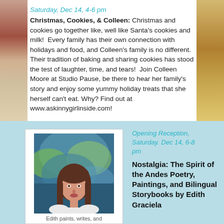Saturday, Dec 14, 4-6 pm
Christmas, Cookies, & Colleen: Christmas and cookies go together like, well like Santa's cookies and milk!  Every family has their own connection with holidays and food, and Colleen's family is no different. Their tradition of baking and sharing cookies has stood the test of laughter, time, and tears!  Join Colleen Moore at Studio Pause, be there to hear her family's story and enjoy some yummy holiday treats that she herself can't eat. Why? Find out at www.askinnygirlinside.com!
[Figure (photo): Portrait photo of Edith, a woman with brown hair, standing in front of colorful abstract paintings]
Edith paints, writes, and
Opening Reception, Saturday. Dec 14, 6-8 pm
Nostalgia: The Spirit of the Andes Poetry, Paintings, and Bilingual Storybooks by Edith Graciela